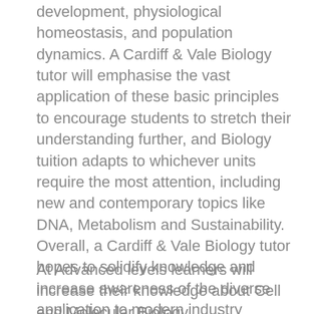development, physiological homeostasis, and population dynamics. A Cardiff & Vale Biology tutor will emphasise the vast application of these basic principles to encourage students to stretch their understanding further, and Biology tuition adapts to whichever units require the most attention, including new and contemporary topics like DNA, Metabolism and Sustainability. Overall, a Cardiff & Vale Biology tutor hopes to solidify knowledge and increase awareness of the diverse application to modern industry biology has, including biotechnology and conservation.  Practise for examinations will include multiple choice tests, data handling and longer structured response questions.
At Advanced levels learners will increase their knowledge about Cell and Molecular Biology